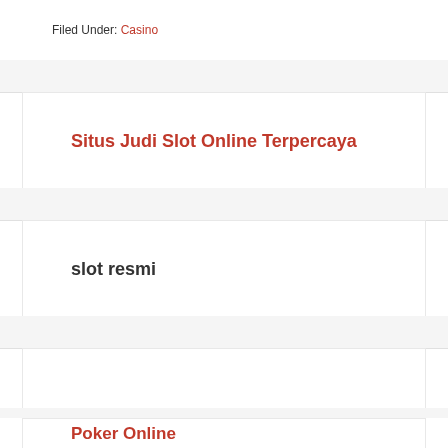Filed Under: Casino
Situs Judi Slot Online Terpercaya
slot resmi
Poker Online